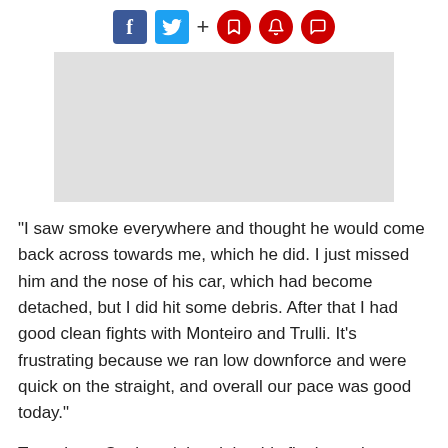Social share icons: Facebook, Twitter, +, bookmark, bell, comment
[Figure (photo): Gray placeholder image rectangle]
"I saw smoke everywhere and thought he would come back across towards me, which he did. I just missed him and the nose of his car, which had become detached, but I did hit some debris. After that I had good clean fights with Monteiro and Trulli. It's frustrating because we ran low downforce and were quick on the straight, and overall our pace was good today."
Team boss Sauber claimed that his final race in charge was charged with emotion.